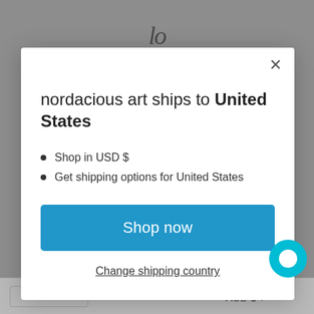[Figure (screenshot): Website background showing logo and bottom bar with AUD $ currency selector]
nordacious art ships to United States
Shop in USD $
Get shipping options for United States
Shop now
Change shipping country